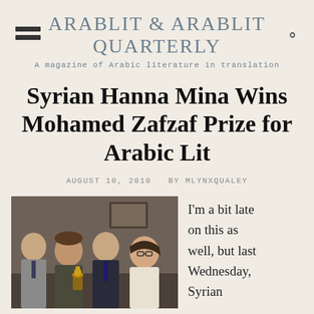ARABLIT & ARABLIT QUARTERLY
A magazine of Arabic literature in translation
Syrian Hanna Mina Wins Mohamed Zafzaf Prize for Arabic Lit
AUGUST 10, 2010  BY MLYNXQUALEY
[Figure (photo): Photo of several people holding a trophy/award at a ceremony. Multiple individuals in formal attire are seen posing together with a golden award.]
I'm a bit late on this as well, but last Wednesday, Syrian